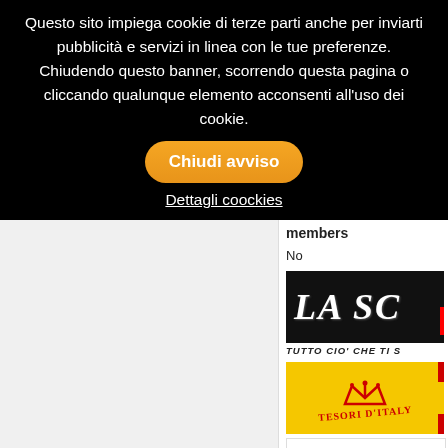Questo sito impiega cookie di terze parti anche per inviarti pubblicità e servizi in linea con le tue preferenze. Chiudendo questo banner, scorrendo questa pagina o cliccando qualunque elemento acconsenti all'uso dei cookie.
Chiudi avviso
Dettagli coockies
members
No
[Figure (logo): Black background logo with white handwritten text 'LA SC' (partially visible), with a red accent bar on the right.]
TUTTO CIO' CHE TI S
[Figure (logo): Yellow background logo with red crown graphic and text 'TESORI D'ITALY' in red, with red bars on right side.]
[Figure (logo): White background logo with teal/cyan italic text 'Giral' (partially visible).]